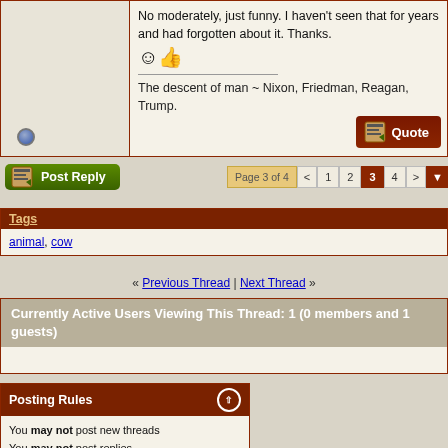No moderately, just funny. I haven't seen that for years and had forgotten about it. Thanks.
The descent of man ~ Nixon, Friedman, Reagan, Trump.
Page 3 of 4
Tags
animal, cow
« Previous Thread | Next Thread »
Currently Active Users Viewing This Thread: 1 (0 members and 1 guests)
Posting Rules
You may not post new threads
You may not post replies
You may not post attachments
You may not edit your posts